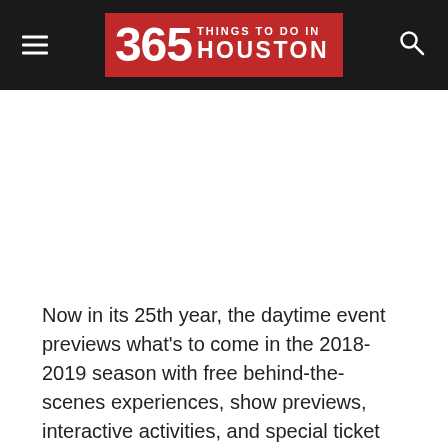365 THINGS TO DO IN HOUSTON
Now in its 25th year, the daytime event previews what’s to come in the 2018-2019 season with free behind-the-scenes experiences, show previews, interactive activities, and special ticket offers.